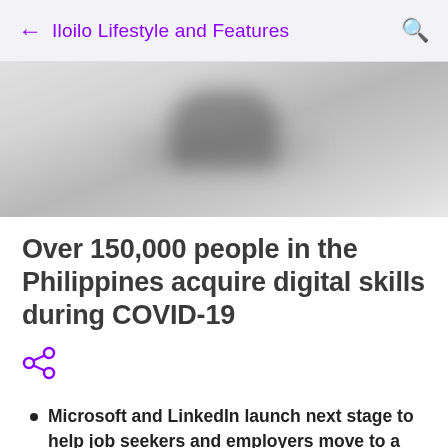← Iloilo Lifestyle and Features 🔍
[Figure (photo): Blurred background photo, appears to show a person, muted grey and light tones]
Over 150,000 people in the Philippines acquire digital skills during COVID-19
[Figure (other): Share icon (purple)]
Microsoft and LinkedIn launch next stage to help job seekers and employers move to a skills-based economy